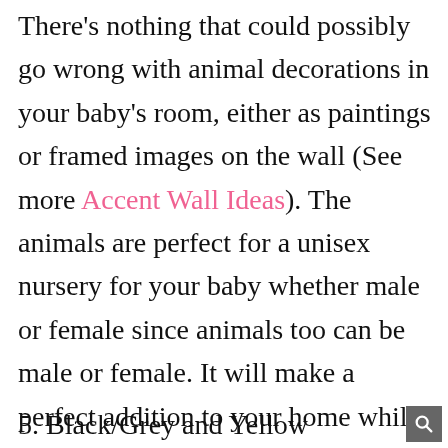There's nothing that could possibly go wrong with animal decorations in your baby's room, either as paintings or framed images on the wall (See more Accent Wall Ideas). The animals are perfect for a unisex nursery for your baby whether male or female since animals too can be male or female. It will make a perfect addition to your home while allowing your child to grow up seeing something beautiful.
5. Black/Grey and Yellow